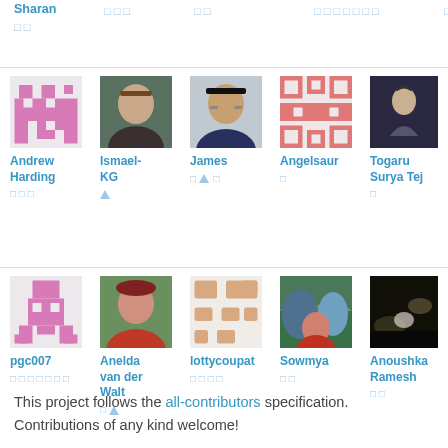Sharan □ □
□ □ □
□ □
□ □ □ □ □ □ □
□ □
[Figure (illustration): Pink pixel ghost avatar for Andrew Harding]
Andrew Harding □ □ □
[Figure (photo): Photo of Ismael-KG]
Ismael-KG △
[Figure (photo): Photo of James]
James □ △ □
[Figure (illustration): Salmon pixel dinosaur avatar for Angelsaur]
Angelsaur □
[Figure (illustration): Dark cartoon figure avatar for Togaru Surya Tej]
Togaru Surya Tej □
[Figure (illustration): Pink pixel person avatar for pgc007]
pgc007 □ □ □ □ □ □ □
[Figure (photo): Photo of Anelda van der Walt]
Anelda van der Walt □ △
[Figure (illustration): Tan pixel avatar for lottycoupat]
lottycoupat □ □ □ □
[Figure (photo): Photo of Sowmya]
Sowmya □ □
[Figure (photo): Dark floral photo avatar for Anoushka Ramesh]
Anoushka Ramesh □ □
This project follows the all-contributors specification. Contributions of any kind welcome!